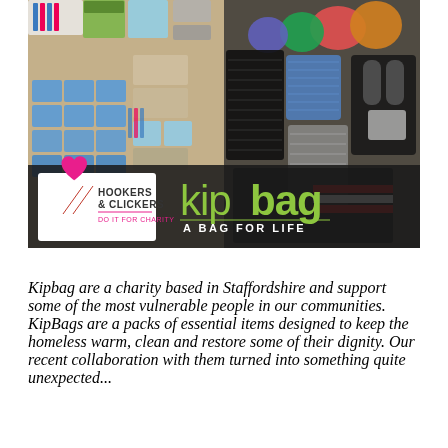[Figure (photo): Photo of donated items including toiletries, hygiene products, packaged goods, and hand-knitted/crocheted hats and scarves laid out on a flat surface. Overlaid at the bottom are two logos: Hookers & Clickers Do It For Charity (pink heart with knitting needles) on the left and Kipbag - A Bag For Life (green text logo) on the right, both on a dark semi-transparent banner.]
Kipbag are a charity based in Staffordshire and support some of the most vulnerable people in our communities. KipBags are a packs of essential items designed to keep the homeless warm, clean and restore some of their dignity. Our recent collaboration with them turned into something quite unexpected...